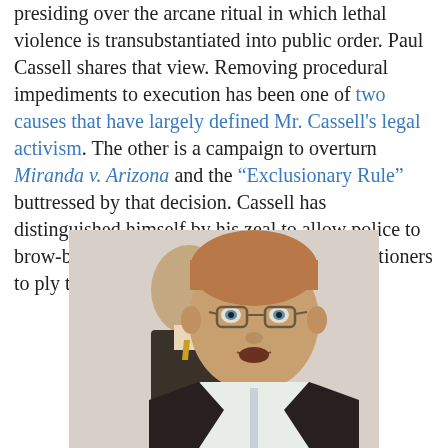presiding over the arcane ritual in which lethal violence is transubstantiated into public order. Paul Cassell shares that view. Removing procedural impediments to execution has been one of two causes that have largely defined Mr. Cassell's legal activism. The other is a campaign to overturn Miranda v. Arizona and the "Exclusionary Rule" buttressed by that decision. Cassell has distinguished himself by his zeal to allow police to brow-beat people into confessions, and executioners to ply their trade more energetically.
[Figure (photo): Photograph of a middle-aged man with reddish-gray hair and glasses speaking, with another man visible in the background.]